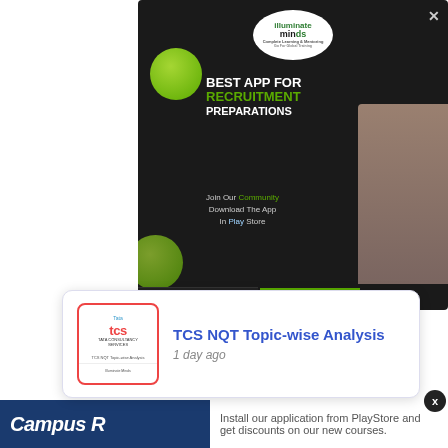[Figure (screenshot): Advertisement popup for 'Illuminate Minds' app: dark background with green decorative bubbles, woman with folder, text reading 'BEST APP FOR RECRUITMENT PREPARATIONS', 'Join Our Community Download The App In Play Store', with Google Play and Download Now buttons. Close button (x) in top right.]
[Figure (infographic): Notification card with TCS logo thumbnail and text 'TCS NQT Topic-wise Analysis' with timestamp '1 day ago'. Blue title text on white card with rounded border.]
Campus R...
Install our application from PlayStore and get discounts on our new courses.